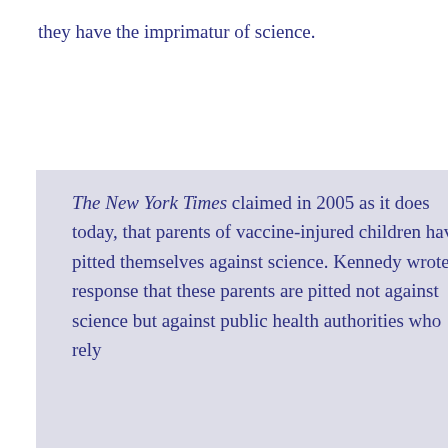they have the imprimatur of science.
The New York Times claimed in 2005 as it does today, that parents of vaccine-injured children have pitted themselves against science. Kennedy wrote in response that these parents are pitted not against science but against public health authorities who rely